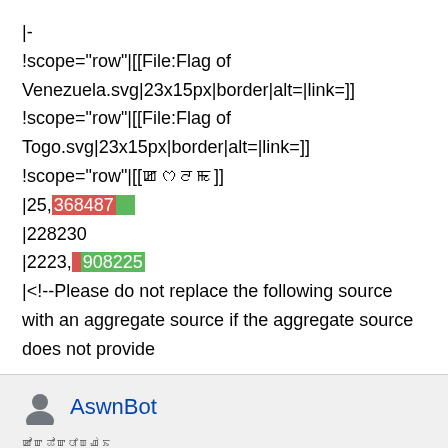|-
!scope="row"|[[File:Flag of Venezuela.svg|23x15px|border|alt=|link=]]
!scope="row"|[[File:Flag of Togo.svg|23x15px|border|alt=|link=]]
!scope="row"|[[🇺🇳]]
|25,368487
|228230
|2223,908225
|<!--Please do not replace the following source with an aggregate source if the aggregate source does not provide
AswnBot
ꯀꯣꯛꯊꯣꯛꯅꯤꯡꯉꯥꯏ
1,32,020
ꯀꯣꯛꯊꯣꯛꯅꯤꯡꯉꯥ